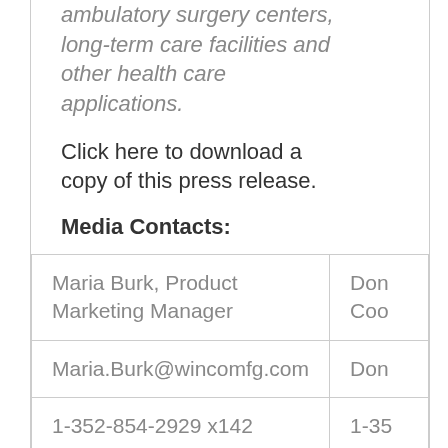ambulatory surgery centers, long-term care facilities and other health care applications.
Click here to download a copy of this press release.
Media Contacts:
| Maria Burk, Product Marketing Manager | Don
Coo |
| Maria.Burk@wincomfg.com | Don |
| 1-352-854-2929 x142 | 1-35 |